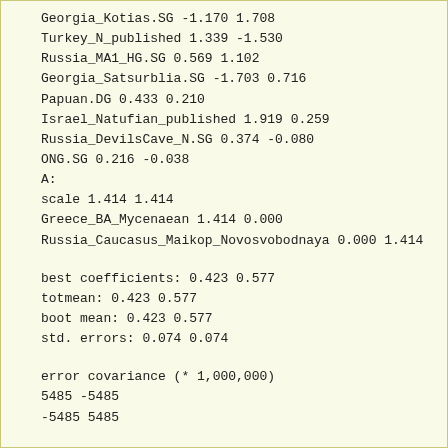Georgia_Kotias.SG -1.170 1.708
Turkey_N_published 1.339 -1.530
Russia_MA1_HG.SG 0.569 1.102
Georgia_Satsurblia.SG -1.703 0.716
Papuan.DG 0.433 0.210
Israel_Natufian_published 1.919 0.259
Russia_DevilsCave_N.SG 0.374 -0.080
ONG.SG 0.216 -0.038
A:
scale 1.414 1.414
Greece_BA_Mycenaean 1.414 0.000
Russia_Caucasus_Maikop_Novosvobodnaya 0.000 1.414
best coefficients: 0.423 0.577
totmean: 0.423 0.577
boot mean: 0.423 0.577
std. errors: 0.074 0.074
error covariance (* 1,000,000)
5485 -5485
-5485 5485
summ: ponticgreek 2 0.690196 0.423 0.577 5485 -5485 5485